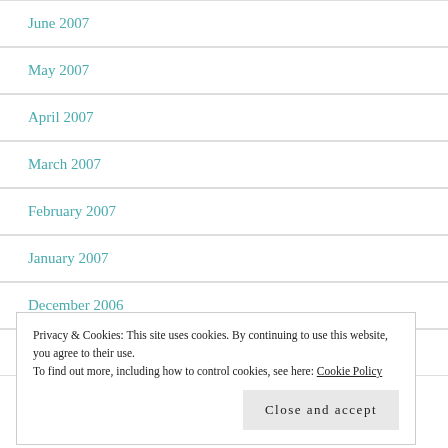June 2007
May 2007
April 2007
March 2007
February 2007
January 2007
December 2006
Privacy & Cookies: This site uses cookies. By continuing to use this website, you agree to their use.
To find out more, including how to control cookies, see here: Cookie Policy
September 2006